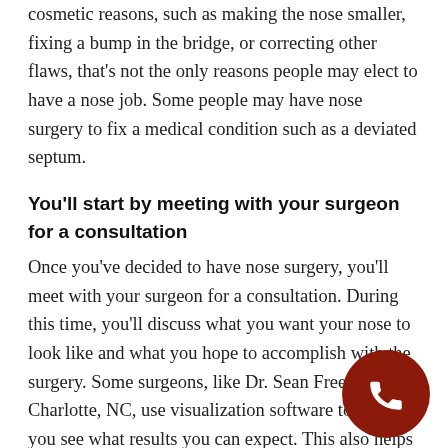cosmetic reasons, such as making the nose smaller, fixing a bump in the bridge, or correcting other flaws, that's not the only reasons people may elect to have a nose job. Some people may have nose surgery to fix a medical condition such as a deviated septum.
You'll start by meeting with your surgeon for a consultation
Once you've decided to have nose surgery, you'll meet with your surgeon for a consultation. During this time, you'll discuss what you want your nose to look like and what you hope to accomplish with the surgery. Some surgeons, like Dr. Sean Freeman in Charlotte, NC, use visualization software to help you see what results you can expect. This also helps eliminate any confusion between you and your surgeon.
Next, you'll have surgery. Dr. Freeman will make